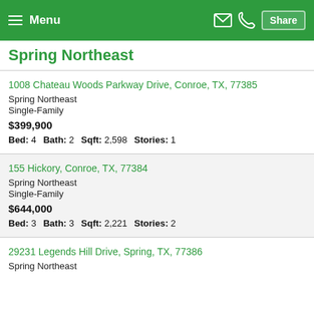Menu | Share
Spring Northeast
1008 Chateau Woods Parkway Drive, Conroe, TX, 77385 | Spring Northeast | Single-Family | $399,900 | Bed: 4  Bath: 2  Sqft: 2,598  Stories: 1
155 Hickory, Conroe, TX, 77384 | Spring Northeast | Single-Family | $644,000 | Bed: 3  Bath: 3  Sqft: 2,221  Stories: 2
29231 Legends Hill Drive, Spring, TX, 77386 | Spring Northeast